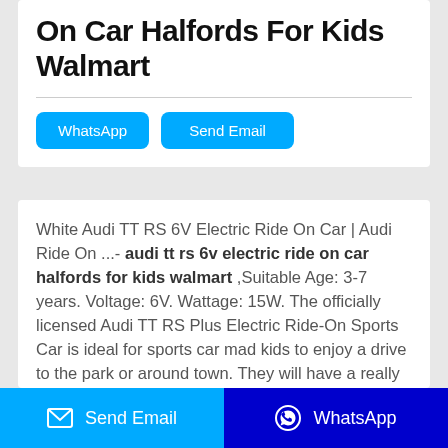On Car Halfords For Kids Walmart
WhatsApp
Send Email
White Audi TT RS 6V Electric Ride On Car | Audi Ride On ...- audi tt rs 6v electric ride on car halfords for kids walmart ,Suitable Age: 3-7 years. Voltage: 6V. Wattage: 15W. The officially licensed Audi TT RS Plus Electric Ride-On Sports Car is ideal for sports car mad kids to enjoy a drive to the park or around town. They will have a really fun time cruising along in style and turning heads with this
Send Email
WhatsApp